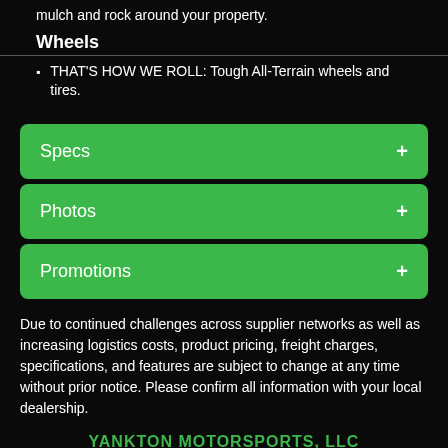mulch and rock around your property.
Wheels
THAT'S HOW WE ROLL: Tough All-Terrain wheels and tires.
Specs +
Photos +
Promotions +
Due to continued challenges across supplier networks as well as increasing logistics costs, product pricing, freight charges, specifications, and features are subject to change at any time without prior notice. Please confirm all information with your local dealership.
YANKTON MOTORSPORTS, LLC